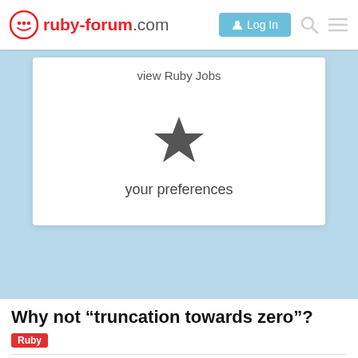ruby-forum.com — Log In
view Ruby Jobs
[Figure (illustration): Star icon representing preferences/bookmarks]
your preferences
Why not “truncation towards zero”?
Ruby
Artem_V
2 / 2